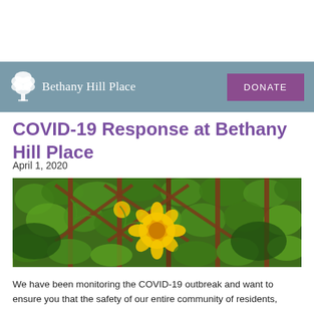Bethany Hill Place | DONATE
COVID-19 Response at Bethany Hill Place
April 1, 2020
[Figure (photo): Garden photo showing green vine plants with yellow flowers climbing a wooden trellis structure]
We have been monitoring the COVID-19 outbreak and want to ensure you that the safety of our entire community of residents,